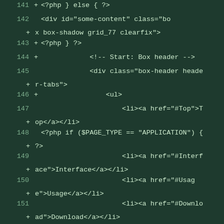[Figure (screenshot): Code diff view showing PHP and HTML code lines 141-154 with line numbers and '+' markers on a dark green background]